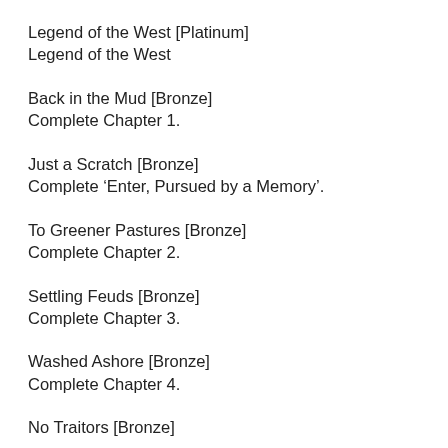Legend of the West [Platinum]
Legend of the West
Back in the Mud [Bronze]
Complete Chapter 1.
Just a Scratch [Bronze]
Complete ‘Enter, Pursued by a Memory’.
To Greener Pastures [Bronze]
Complete Chapter 2.
Settling Feuds [Bronze]
Complete Chapter 3.
Washed Ashore [Bronze]
Complete Chapter 4.
No Traitors [Bronze]